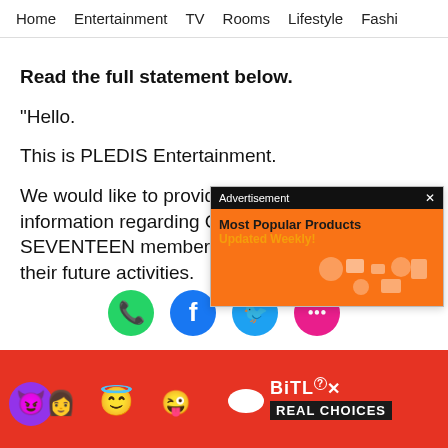Home   Entertainment   TV   Rooms   Lifestyle   Fashi
Read the full statement below.
“Hello.
This is PLEDIS Entertainment.
We would like to provide y information regarding COV SEVENTEEN members JOSH their future activities.
[Figure (screenshot): Advertisement overlay: 'Most Popular Products Updated Weekly!' on orange background with product icons]
JOSHUA and HOSHI experienced mild nasal
[Figure (screenshot): Social share icons: WhatsApp (green), Facebook (blue), Twitter (blue), SMS/chat (pink)]
[Figure (screenshot): Bottom banner advertisement for BitLife: REAL CHOICES, with emoji characters on red background]